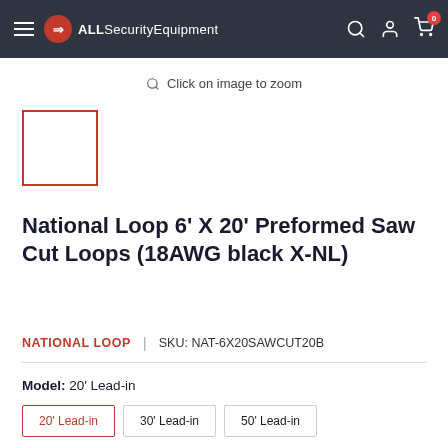ALLSecurityEquipment — navigation header with hamburger menu, logo, search, account, and cart icons
Click on image to zoom
[Figure (other): Small product thumbnail placeholder with red border outline]
National Loop 6' X 20' Preformed Saw Cut Loops (18AWG black X-NL)
NATIONAL LOOP  |  SKU: NAT-6X20SAWCUT20B
Model: 20' Lead-in
20' Lead-in
30' Lead-in
50' Lead-in